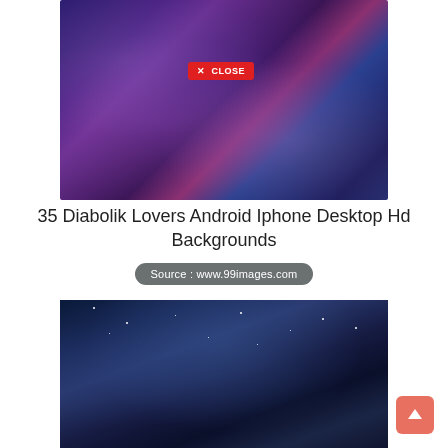[Figure (illustration): Anime illustration showing multiple characters from Diabolik Lovers with a purple/dark fantasy aesthetic, with a red CLOSE button overlay]
35 Diabolik Lovers Android Iphone Desktop Hd Backgrounds
Source : www.99images.com
[Figure (illustration): Anime illustration showing two figures under a night sky filled with stars, blue/dark blue color palette]